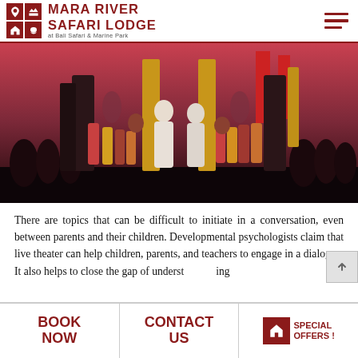MARA RIVER SAFARI LODGE at Bali Safari & Marine Park
[Figure (photo): A large group of Balinese traditional theater performers on stage, with two central figures in white costumes with golden accessories. Background shows elaborate temple-like stage decorations, colorful flags, and large stone carvings. Many performers in traditional Balinese costume surround them.]
There are topics that can be difficult to initiate in a conversation, even between parents and their children. Developmental psychologists claim that live theater can help children, parents, and teachers to engage in a dialogue. It also helps to close the gap of understanding
BOOK NOW   CONTACT US   SPECIAL OFFERS !